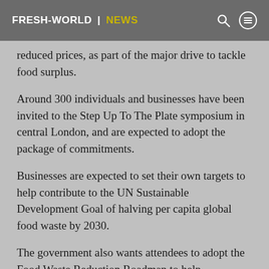FRESH-WORLD | NEWS
reduced prices, as part of the major drive to tackle food surplus.
Around 300 individuals and businesses have been invited to the Step Up To The Plate symposium in central London, and are expected to adopt the package of commitments.
Businesses are expected to set their own targets to help contribute to the UN Sustainable Development Goal of halving per capita global food waste by 2030.
The government also wants attendees to adopt the Food Waste Reduction Roadmap to help companies measure and report on efforts to cut